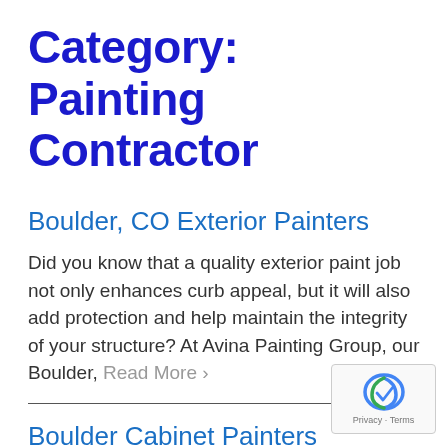Category: Painting Contractor
Boulder, CO Exterior Painters
Did you know that a quality exterior paint job not only enhances curb appeal, but it will also add protection and help maintain the integrity of your structure? At Avina Painting Group, our Boulder, Read More ›
Boulder Cabinet Painters